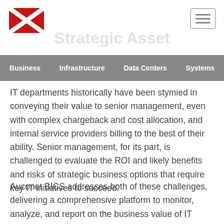[Figure (logo): Red diagonal envelope/letter logo with X shape]
[Figure (other): Hamburger menu icon (three horizontal lines in a rounded rectangle border)]
Strategic Asset
Business | Infrastructure | Data Centers | Systems
IT departments historically have been stymied in conveying their value to senior management, even with complex chargeback and cost allocation, and internal service providers billing to the best of their ability. Senior management, for its part, is challenged to evaluate the ROI and likely benefits and risks of strategic business options that require key IT initiatives to succeed.
Auconet BICS addresses both of these challenges, delivering a comprehensive platform to monitor, analyze, and report on the business value of IT assets